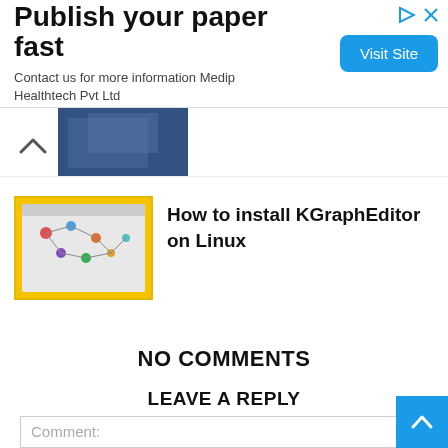[Figure (screenshot): Advertisement banner: 'Publish your paper fast' with 'Visit Site' button and Medip Healthtech Pvt Ltd text]
[Figure (screenshot): Partial thumbnail image of a blue-toned photo with scroll-up arrow]
[Figure (screenshot): Yellow-background thumbnail showing KGraphEditor software screenshot]
How to install KGraphEditor on Linux
NO COMMENTS
LEAVE A REPLY
Comment: